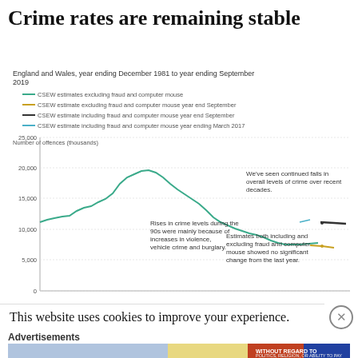Crime rates are remaining stable
[Figure (line-chart): Line chart showing crime levels from 1981 to 2019. Crime rose in the 90s peaking around 20,000 thousand, then fell to around 7,500 thousand by 2019. Annotations note rises due to violence, vehicle crime and burglary, and continued falls over recent decades.]
This website uses cookies to improve your experience.
Advertisements